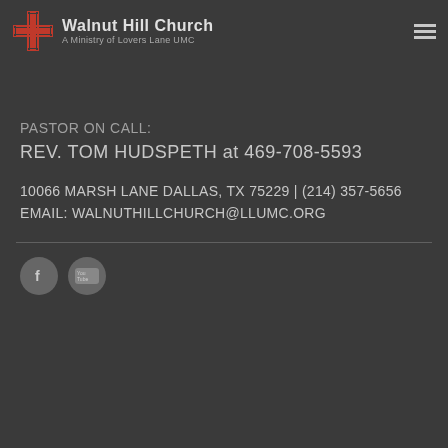[Figure (logo): Walnut Hill Church logo with cross icon and text 'Walnut Hill Church / A Ministry of Lovers Lane UMC']
[Figure (other): Hamburger menu icon (three horizontal lines)]
PASTOR ON CALL:
REV. TOM HUDSPETH at 469-708-5593
10066 MARSH LANE DALLAS, TX 75229 | (214) 357-5656
EMAIL: WALNUTHILLCHURCH@LLUMC.ORG
[Figure (other): Facebook social media icon circle]
[Figure (other): YouTube social media icon circle]